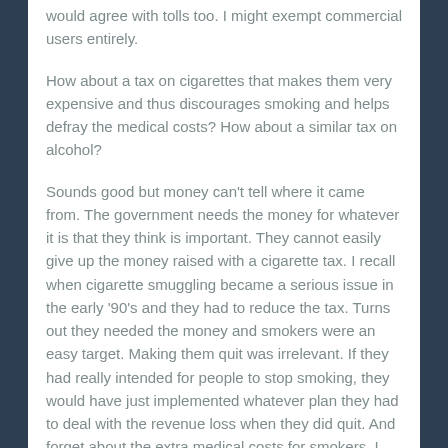would agree with tolls too. I might exempt commercial users entirely.
How about a tax on cigarettes that makes them very expensive and thus discourages smoking and helps defray the medical costs? How about a similar tax on alcohol?
Sounds good but money can't tell where it came from. The government needs the money for whatever it is that they think is important. They cannot easily give up the money raised with a cigarette tax. I recall when cigarette smuggling became a serious issue in the early '90's and they had to reduce the tax. Turns out they needed the money and smokers were an easy target. Making them quit was irrelevant. If they had really intended for people to stop smoking, they would have just implemented whatever plan they had to deal with the revenue loss when they did quit. And forget about the extra medical costs for smokers. I doubt there is much. Smokers die younger and relatively